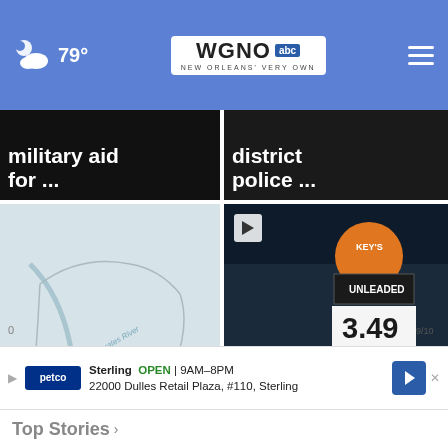WGNO abc — NEW ORLEANS' VERY OWN, 79°
[Figure (screenshot): Partially visible top news card: military aid for ...]
[Figure (screenshot): Partially visible top news card: district police ...]
[Figure (photo): Map of Syria with Euphrates River label — news story: US airstrikes target militia-controlled areas in ...]
[Figure (photo): Gas station at night showing UNLEADED 3.49 price sign — news story: NOPD responds to double shooting at gas station or...]
Sterling OPEN 9AM–8PM 22000 Dulles Retail Plaza, #110, Sterling
Top Stories